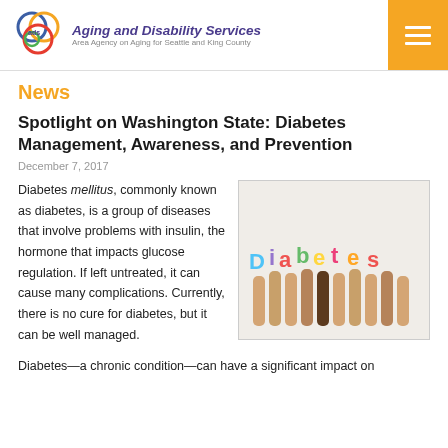Aging and Disability Services – Area Agency on Aging for Seattle and King County
News
Spotlight on Washington State: Diabetes Management, Awareness, and Prevention
December 7, 2017
Diabetes mellitus, commonly known as diabetes, is a group of diseases that involve problems with insulin, the hormone that impacts glucose regulation. If left untreated, it can cause many complications. Currently, there is no cure for diabetes, but it can be well managed.
[Figure (photo): Hands holding up colorful letter signs spelling 'Diabetes']
Diabetes—a chronic condition—can have a significant impact on